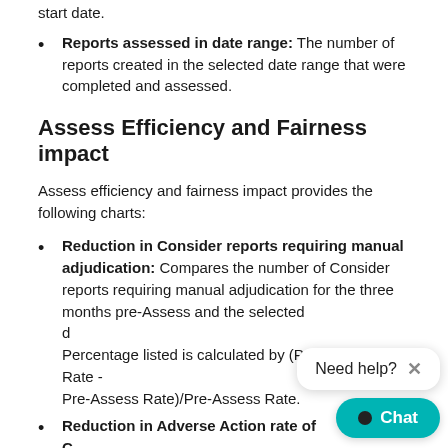Reports assessed in date range: The number of reports created in the selected date range that were completed and assessed.
Assess Efficiency and Fairness impact
Assess efficiency and fairness impact provides the following charts:
Reduction in Consider reports requiring manual adjudication: Compares the number of Consider reports requiring manual adjudication for the three months pre-Assess and the selected d... Percentage listed is calculated by (Post-Assess Rate - Pre-Assess Rate)/Pre-Assess Rate.
Reduction in Adverse Action rate of C... reports: Compares the number of Conside... resulting in an Adverse Action for the three months